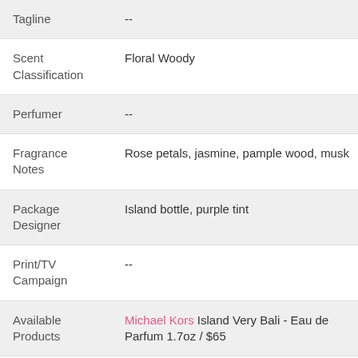| Field | Value |
| --- | --- |
| Tagline | -- |
| Scent Classification | Floral Woody |
| Perfumer | -- |
| Fragrance Notes | Rose petals, jasmine, pample wood, musk |
| Package Designer | Island bottle, purple tint |
| Print/TV Campaign | -- |
| Available Products | Michael Kors Island Very Bali - Eau de Parfum 1.7oz / $65 |